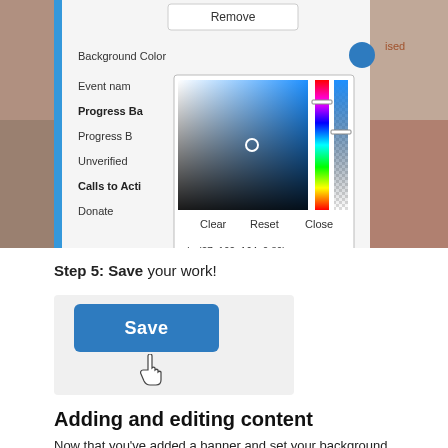[Figure (screenshot): Screenshot of a color picker UI overlay on top of an event editing interface. Shows 'Remove' button at top, 'Background Color' field with a blue circle color swatch, fields for 'Event name', 'Progress Ba...' (bold), 'Progress B...', 'Unverified...', 'Calls to Acti...' (bold), 'Donate'. A color picker popup is shown with a gradient square, hue/opacity sliders, 'Clear', 'Reset', 'Close' buttons, and the value 'rgba(27, 102, 164, 0.89)'. Background shows rock/earth textures on both sides.]
Step 5: Save your work!
[Figure (screenshot): Screenshot of a Save button (blue, rounded) with a hand cursor hovering over it, on a light gray background.]
Adding and editing content
Now that you've added a banner and set your background